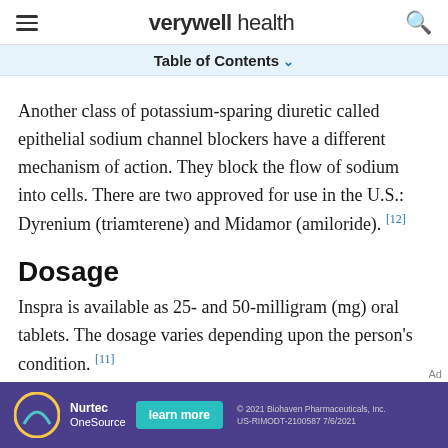verywell health
Table of Contents
Another class of potassium-sparing diuretic called epithelial sodium channel blockers have a different mechanism of action. They block the flow of sodium into cells. There are two approved for use in the U.S.: Dyrenium (triamterene) and Midamor (amiloride). [12]
Dosage
Inspra is available as 25- and 50-milligram (mg) oral tablets. The dosage varies depending upon the person's condition. [11]
[Figure (other): Nurtec OneSource advertisement banner with learn more button, © 2021 Biohaven Pharmaceuticals, Inc. US-RIMODT-2100587 7/6/2021]